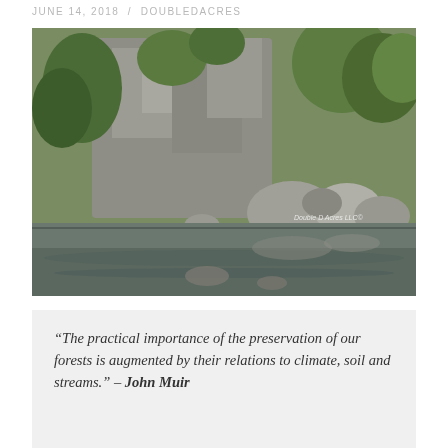JUNE 14, 2018 / DOUBLEDACRES
[Figure (photo): Photograph of a rocky cliff face with green trees and large boulders at the edge of a still reflective body of water. Watermark reads 'Double D Acres LLC©']
“The practical importance of the preservation of our forests is augmented by their relations to climate, soil and streams.” – John Muir